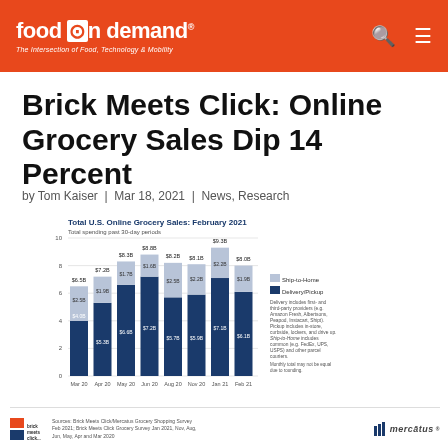food on demand — The Intersection of Food, Technology & Mobility
Brick Meets Click: Online Grocery Sales Dip 14 Percent
by Tom Kaiser | Mar 18, 2021 | News, Research
[Figure (stacked-bar-chart): Total U.S. Online Grocery Sales: February 2021]
Sources: Brick Meets Click/Mercatus Grocery Shopping Survey Feb 2021; Brick Meets Click Grocery Survey Jan 2021, Nov, Aug, Jun, May, Apr and Mar 2020